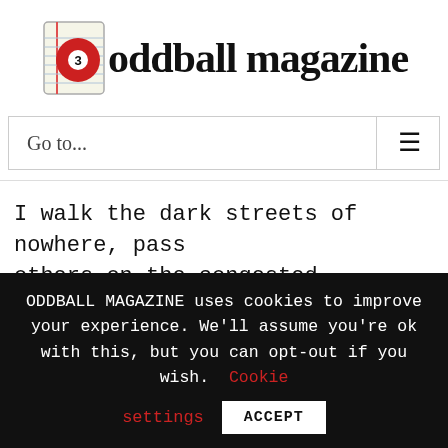[Figure (logo): Oddball Magazine logo: billiard ball with number 3 on notepad, with text 'oddball magazine']
Go to...
I walk the dark streets of nowhere, pass others on the congested
lonely streets; keep an eye out for those
ODDBALL MAGAZINE uses cookies to improve your experience. We'll assume you're ok with this, but you can opt-out if you wish. Cookie settings ACCEPT